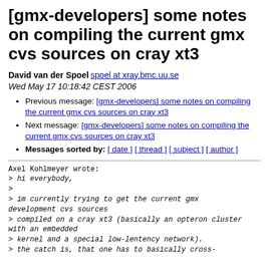[gmx-developers] some notes on compiling the current gmx cvs sources on cray xt3
David van der Spoel spoel at xray.bmc.uu.se
Wed May 17 10:18:42 CEST 2006
Previous message: [gmx-developers] some notes on compiling the current gmx cvs sources on cray xt3
Next message: [gmx-developers] some notes on compiling the current gmx cvs sources on cray xt3
Messages sorted by: [ date ] [ thread ] [ subject ] [ author ]
Axel Kohlmeyer wrote:
> hi everybody,
>
> im currently trying to get the current gmx development cvs sources
> compiled on a cray xt3 (basically an opteron cluster with an embedded
> kernel and a special low-lentency network).
> the catch is, that one has to basically cross-